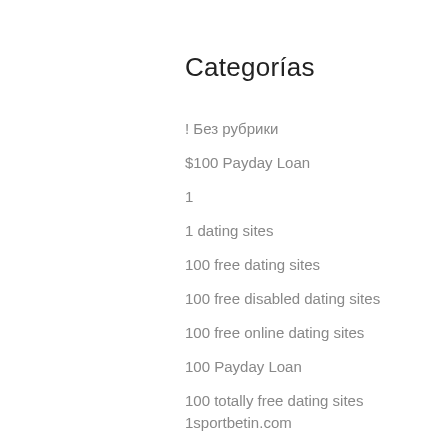Categorías
! Без рубрики
$100 Payday Loan
1
1 dating sites
100 free dating sites
100 free disabled dating sites
100 free online dating sites
100 Payday Loan
100 totally free dating sites
1sportbetin.com
1xbet
2
21 Dukes Casino